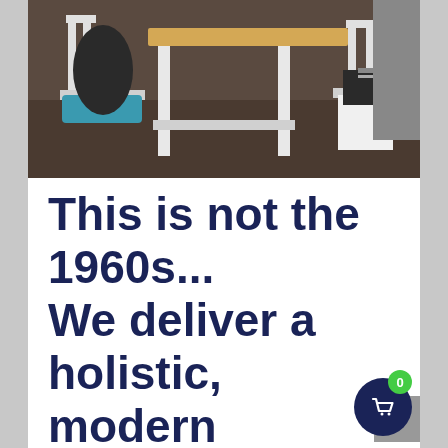[Figure (photo): Photo of people sitting at a white wooden table with a light wood top, chairs visible, indoor setting with gray walls. Shot from above/mid angle showing table legs and seated figures.]
This is not the 1960s... We deliver a holistic, modern approach to personal and